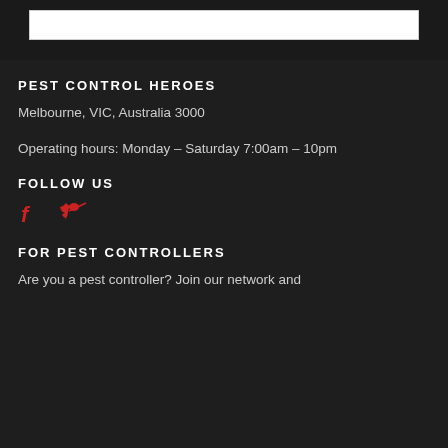[Figure (other): White bordered input box at top of page]
PEST CONTROL HEROES
Melbourne, VIC, Australia 3000
Operating hours: Monday – Saturday 7:00am – 10pm
FOLLOW US
[Figure (other): Facebook and Twitter social media icons in red]
FOR PEST CONTROLLERS
Are you a pest controller? Join our network and